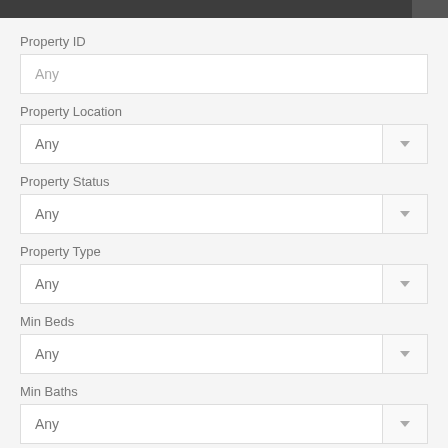Property ID
[Figure (screenshot): Text input field showing placeholder text 'Any']
Property Location
[Figure (screenshot): Dropdown select field showing placeholder text 'Any' with dropdown arrow]
Property Status
[Figure (screenshot): Dropdown select field showing placeholder text 'Any' with dropdown arrow]
Property Type
[Figure (screenshot): Dropdown select field showing placeholder text 'Any' with dropdown arrow]
Min Beds
[Figure (screenshot): Dropdown select field showing placeholder text 'Any' with dropdown arrow]
Min Baths
[Figure (screenshot): Dropdown select field showing placeholder text 'Any' with dropdown arrow]